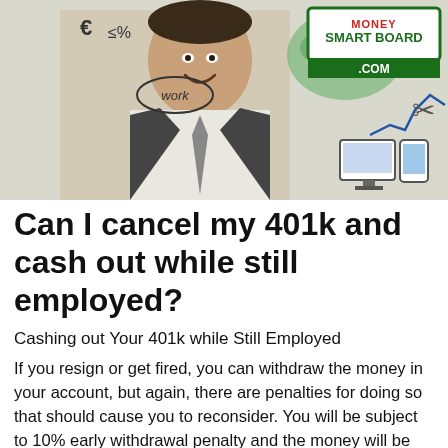[Figure (photo): Header image showing a smiling businessman in a suit with financial graphics, a world map, charts, a computer, and a Money Smart Board .com logo in the top right corner. Financial symbols like euro sign and percentage are visible on the left.]
Can I cancel my 401k and cash out while still employed?
Cashing out Your 401k while Still Employed
If you resign or get fired, you can withdraw the money in your account, but again, there are penalties for doing so that should cause you to reconsider. You will be subject to 10% early withdrawal penalty and the money will be taxed as regular income.
What are the Consequences...